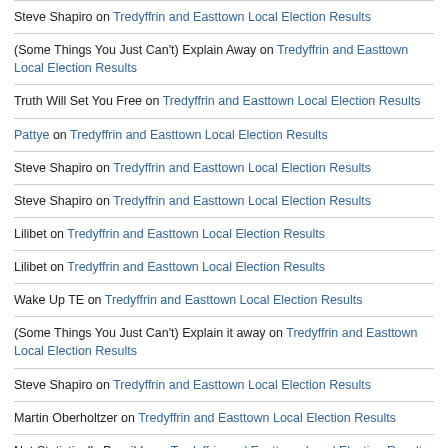Steve Shapiro on Tredyffrin and Easttown Local Election Results
(Some Things You Just Can't) Explain Away on Tredyffrin and Easttown Local Election Results
Truth Will Set You Free on Tredyffrin and Easttown Local Election Results
Pattye on Tredyffrin and Easttown Local Election Results
Steve Shapiro on Tredyffrin and Easttown Local Election Results
Steve Shapiro on Tredyffrin and Easttown Local Election Results
Lilibet on Tredyffrin and Easttown Local Election Results
Lilibet on Tredyffrin and Easttown Local Election Results
Wake Up TE on Tredyffrin and Easttown Local Election Results
(Some Things You Just Can't) Explain it away on Tredyffrin and Easttown Local Election Results
Steve Shapiro on Tredyffrin and Easttown Local Election Results
Martin Oberholtzer on Tredyffrin and Easttown Local Election Results
Not Statistically Possible on Tredyffrin and Easttown Local Election Results